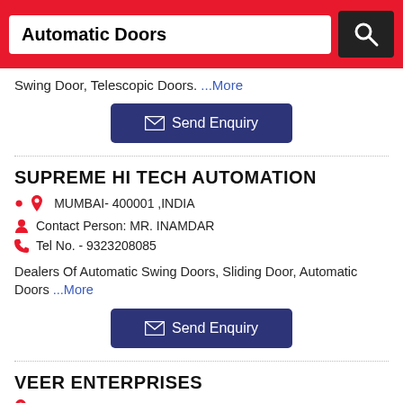Automatic Doors
Swing Door, Telescopic Doors. ...More
[Figure (other): Send Enquiry button (navy blue)]
SUPREME HI TECH AUTOMATION
MUMBAI- 400001 ,INDIA
Contact Person: MR. INAMDAR
Tel No. - 9323208085
Dealers Of Automatic Swing Doors, Sliding Door, Automatic Doors ...More
[Figure (other): Send Enquiry button (navy blue)]
VEER ENTERPRISES
MUMBAI- 400067 ,INDIA
Contact Person: MR. HITENDRA SHAH, BRAD